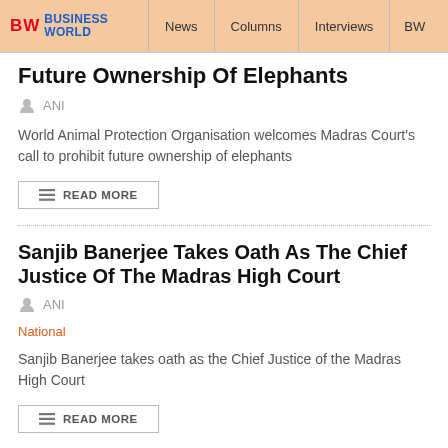BW BUSINESSWORLD | News | Columns | Interviews | BW
Future Ownership Of Elephants
ANI
World Animal Protection Organisation welcomes Madras Court's call to prohibit future ownership of elephants
READ MORE
Sanjib Banerjee Takes Oath As The Chief Justice Of The Madras High Court
ANI
National
Sanjib Banerjee takes oath as the Chief Justice of the Madras High Court
READ MORE